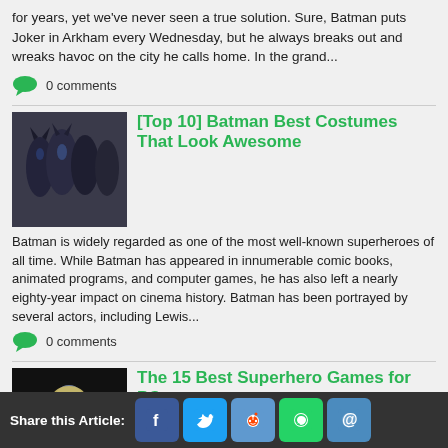for years, yet we've never seen a true solution. Sure, Batman puts Joker in Arkham every Wednesday, but he always breaks out and wreaks havoc on the city he calls home. In the grand...
0 comments
[Top 10] Batman Best Costumes That Look Awesome
Batman is widely regarded as one of the most well-known superheroes of all time. While Batman has appeared in innumerable comic books, animated programs, and computer games, he has also left a nearly eighty-year impact on cinema history. Batman has been portrayed by several actors, including Lewis...
0 comments
The 15 Best Superhero Games for PC
The 15 Best Superhero Games To Play on PC Right Now There was
Share this Article: